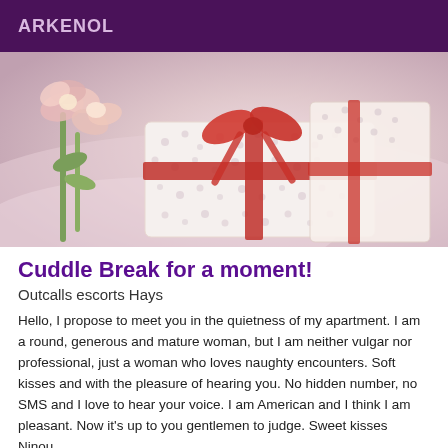ARKENOL
[Figure (photo): A wrapped gift box with red ribbon and polka dot paper, next to pink flowers on a soft pinkish background]
Cuddle Break for a moment!
Outcalls escorts Hays
Hello, I propose to meet you in the quietness of my apartment. I am a round, generous and mature woman, but I am neither vulgar nor professional, just a woman who loves naughty encounters. Soft kisses and with the pleasure of hearing you. No hidden number, no SMS and I love to hear your voice. I am American and I think I am pleasant. Now it's up to you gentlemen to judge. Sweet kisses Ninou.